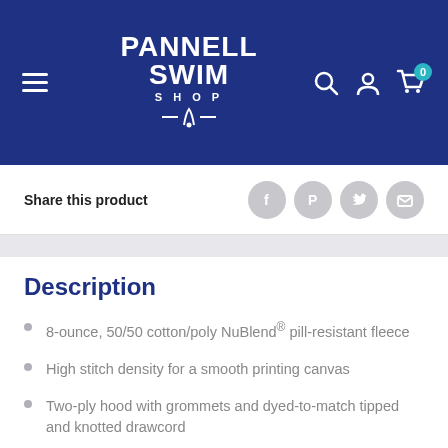Pannell Swim Shop
Share this product
Description
8-ounce, 50/50 cotton/poly NuBlend® pill-resistant fleece
High stitch density for a smooth printing canvas
Two-ply hood with grommets and dyed-to-match tipped and knotted drawcord